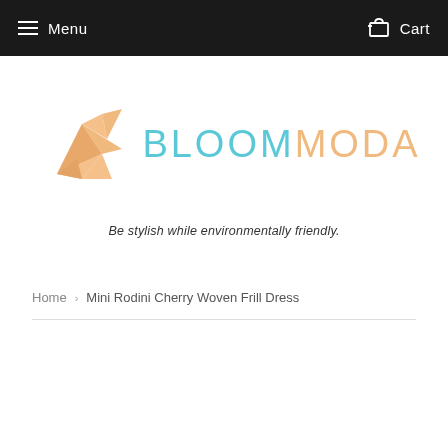Menu  Cart
[Figure (logo): BloomModa origami bird logo in peach/orange geometric style, with brand name BLOOMMODA where BLOOM is in teal/cyan and MODA is in peach/orange]
Be stylish while environmentally friendly.
Home › Mini Rodini Cherry Woven Frill Dress